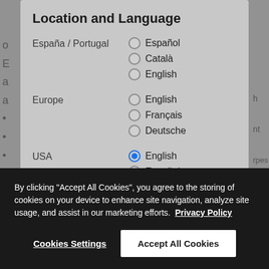Location and Language
España / Portugal — Español, Català, English
Europe — English, Français, Deutsche
USA — English (selected), Español
By clicking "Accept All Cookies", you agree to the storing of cookies on your device to enhance site navigation, analyze site usage, and assist in our marketing efforts.  Privacy Policy
Cookies Settings
Accept All Cookies